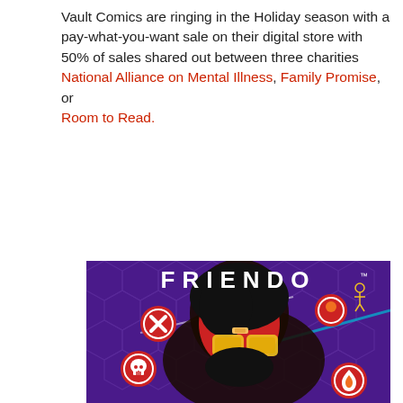Vault Comics are ringing in the Holiday season with a pay-what-you-want sale on their digital store with 50% of sales shared out between three charities National Alliance on Mental Illness, Family Promise, or Room to Read.
[Figure (illustration): Comic book cover art for 'FRIENDO' showing a stylized illustration of a bearded man with large yellow hexagonal glasses, wearing a red outfit, against a purple hexagonal grid background. Several red circular icons with symbols (bandage X, skull, flame) are scattered around the image.]